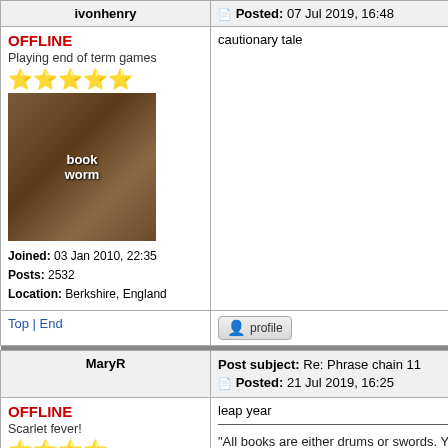| User info | Post content |
| --- | --- |
| ivonhenry | Posted: 07 Jul 2019, 16:48 |
| OFFLINE
Playing end of term games
★★★★★
[book worm avatar]
Joined: 03 Jan 2010, 22:35
Posts: 2532
Location: Berkshire, England | cautionary tale |
| Top | End | [profile button] |
| [separator] |  |
| MaryR | Post subject: Re: Phrase chain 11
Posted: 21 Jul 2019, 16:25 |
| OFFLINE
Scarlet fever!
★★★★
[avatar image] | leap year
---
"All books are either drums or swords. You can cut, or you can drug with words." (Amy Lowell) |